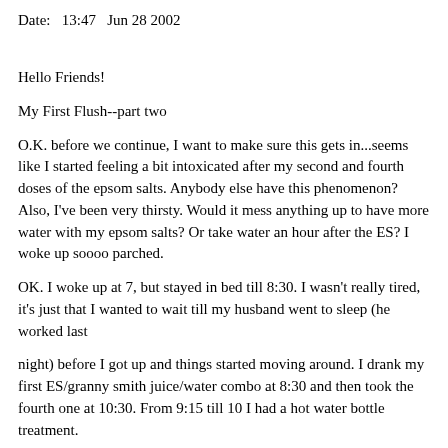Date:   13:47   Jun 28 2002
Hello Friends!
My First Flush--part two
O.K. before we continue, I want to make sure this gets in...seems like I started feeling a bit intoxicated after my second and fourth doses of the epsom salts. Anybody else have this phenomenon? Also, I've been very thirsty. Would it mess anything up to have more water with my epsom salts? Or take water an hour after the ES? I woke up soooo parched.
OK. I woke up at 7, but stayed in bed till 8:30. I wasn't really tired, it's just that I wanted to wait till my husband went to sleep (he worked last
night) before I got up and things started moving around. I drank my first ES/granny smith juice/water combo at 8:30 and then took the fourth one at 10:30. From 9:15 till 10 I had a hot water bottle treatment.
At 10:30 I passed one big stone (1.5 x 1.5 cm), 3 med stones, 14 small stones with a few tinier in the toilet. But MOST is on the